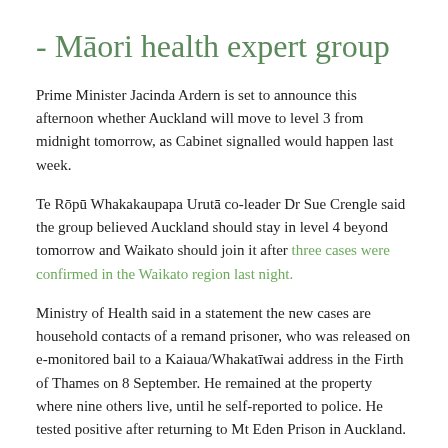- Māori health expert group
Prime Minister Jacinda Ardern is set to announce this afternoon whether Auckland will move to level 3 from midnight tomorrow, as Cabinet signalled would happen last week.
Te Rōpū Whakakaupapa Urutā co-leader Dr Sue Crengle said the group believed Auckland should stay in level 4 beyond tomorrow and Waikato should join it after three cases were confirmed in the Waikato region last night.
Ministry of Health said in a statement the new cases are household contacts of a remand prisoner, who was released on e-monitored bail to a Kaiaua/Whakatīwai address in the Firth of Thames on 8 September. He remained at the property where nine others live, until he self-reported to police. He tested positive after returning to Mt Eden Prison in Auckland.